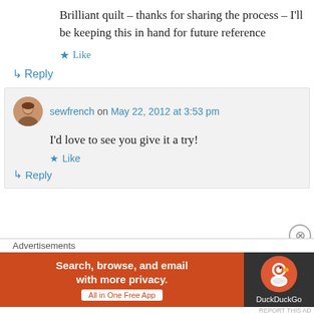Brilliant quilt – thanks for sharing the process – I'll be keeping this in hand for future reference
★ Like
↳ Reply
sewfrench on May 22, 2012 at 3:53 pm
I'd love to see you give it a try!
★ Like
↳ Reply
Advertisements
Search, browse, and email with more privacy. All in One Free App